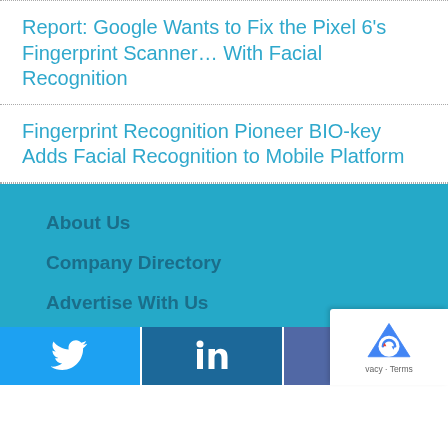Report: Google Wants to Fix the Pixel 6's Fingerprint Scanner… With Facial Recognition
Fingerprint Recognition Pioneer BIO-key Adds Facial Recognition to Mobile Platform
About Us
Company Directory
Advertise With Us
Contact Us
[Figure (infographic): Social media share/follow buttons bar: Twitter (blue bird icon), LinkedIn (white 'in' icon on dark blue), Facebook (white 'f' icon on purple-blue), and Facebook Like button with reCAPTCHA badge]